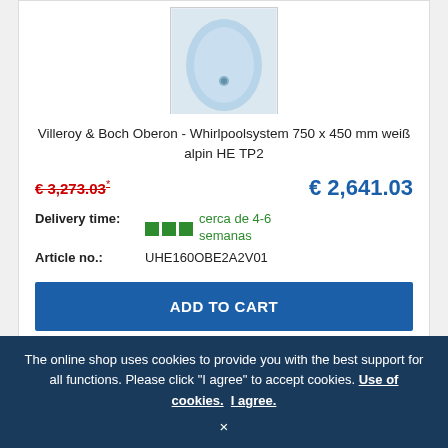[Figure (photo): Villeroy & Boch bathtub product image shown from above, light blue interior, white exterior, partially cropped]
Villeroy & Boch Oberon - Whirlpoolsystem 750 x 450 mm weiß alpin HE TP2
€ 3,273.03* (strikethrough old price)   € 2,641.03 (current price)
Delivery time: cerca de 4-6 semanas
Article no.: UHE160OBE2A2V01
ADD TO CART
[Figure (photo): Second product card partially visible at bottom, blue background product image, -19% discount badge visible]
The online shop uses cookies to provide you with the best support for all functions. Please click "I agree" to accept cookies. Use of cookies. I agree. ×